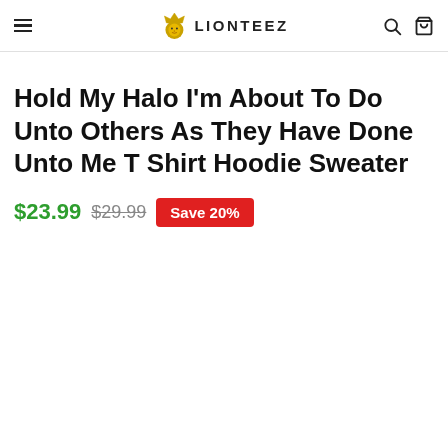LIONTEEZ
Hold My Halo I'm About To Do Unto Others As They Have Done Unto Me T Shirt Hoodie Sweater
$23.99  $29.99  Save 20%